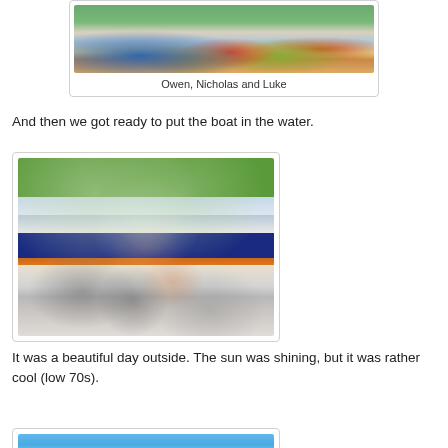[Figure (photo): Photo of Owen, Nicholas and Luke sitting at a table outdoors with drinks and food]
Owen, Nicholas and Luke
And then we got ready to put the boat in the water.
[Figure (photo): Four boys posing in front of a boat with flame graphics on a trailer]
It was a beautiful day outside.  The sun was shining, but it was rather cool (low 70s).
[Figure (photo): Partial photo of water or lake scene (cropped at bottom)]